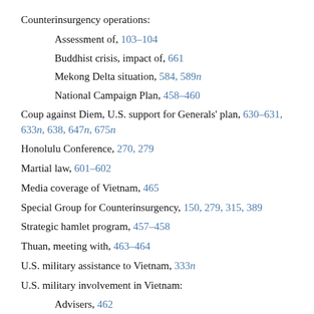Counterinsurgency operations:
Assessment of, 103–104
Buddhist crisis, impact of, 661
Mekong Delta situation, 584, 589n
National Campaign Plan, 458–460
Coup against Diem, U.S. support for Generals' plan, 630–631, 633n, 638, 647n, 675n
Honolulu Conference, 270, 279
Martial law, 601–602
Media coverage of Vietnam, 465
Special Group for Counterinsurgency, 150, 279, 315, 389
Strategic hamlet program, 457–458
Thuan, meeting with, 463–464
U.S. military assistance to Vietnam, 333n
U.S. military involvement in Vietnam:
Advisers, 462